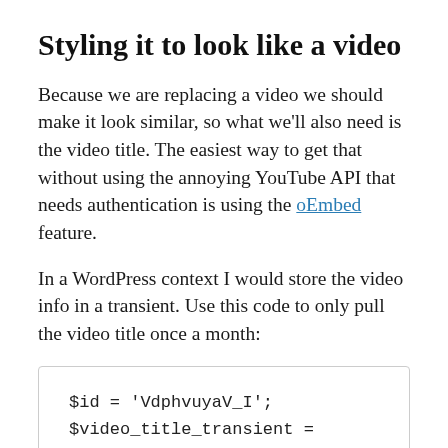Styling it to look like a video
Because we are replacing a video we should make it look similar, so what we'll also need is the video title. The easiest way to get that without using the annoying YouTube API that needs authentication is using the oEmbed feature.
In a WordPress context I would store the video info in a transient. Use this code to only pull the video title once a month:
$id = 'VdphvuyaV_I';
$video_title_transient =